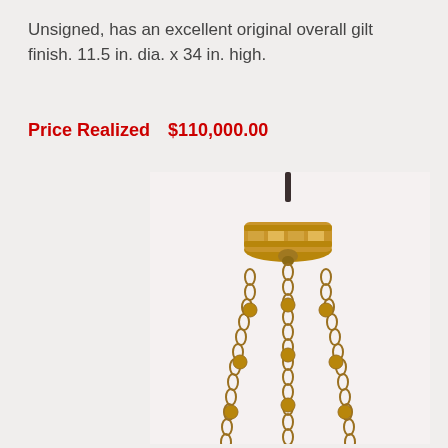Unsigned, has an excellent original overall gilt finish. 11.5 in. dia. x 34 in. high.
Price Realized    $110,000.00
[Figure (photo): Close-up photograph of a gilt chandelier fixture showing a decorative crown-shaped canopy with chains hanging down, adorned with gold-colored beaded links against a light background.]